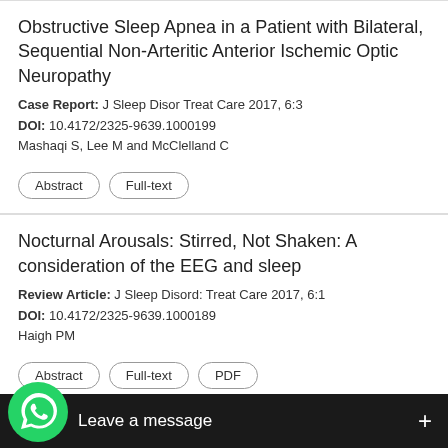Obstructive Sleep Apnea in a Patient with Bilateral, Sequential Non-Arteritic Anterior Ischemic Optic Neuropathy
Case Report: J Sleep Disor Treat Care 2017, 6:3
DOI: 10.4172/2325-9639.1000199
Mashaqi S, Lee M and McClelland C
Abstract | Full-text
Nocturnal Arousals: Stirred, Not Shaken: A consideration of the EEG and sleep
Review Article: J Sleep Disord: Treat Care 2017, 6:1
DOI: 10.4172/2325-9639.1000189
Haigh PM
Abstract | Full-text | PDF
Resolution Pulse Oximetry: Cost Effective ... ered Breathing in the Hos...
[Figure (screenshot): WhatsApp 'Leave a message' overlay bar at the bottom of the screen, with green WhatsApp phone icon and a dark bar showing 'Leave a message' text and a '+' button.]